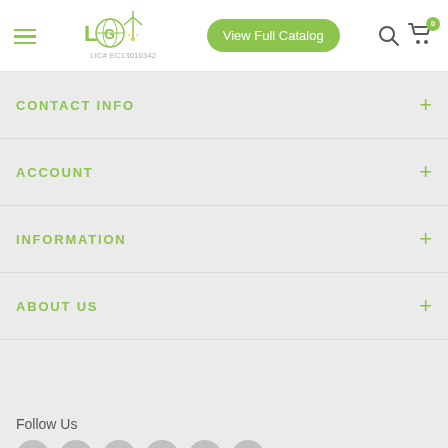LIC# EC13010342 | View Full Catalog | Navigation header with logo, search, and cart
CONTACT INFO
ACCOUNT
INFORMATION
ABOUT US
Follow Us